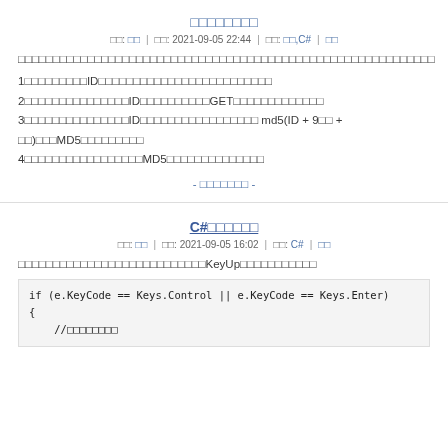□□□□□□□□
作者: □□  |  时间: 2021-09-05 22:44  |  分类: □□,C#  |  □□
□□□□□□□□□□□□□□□□□□□□□□□□□□□□□□□□□□□□□□□□□□□□□□□□□□□□□□□□□□□□
1□□□□□□□□□ID□□□□□□□□□□□□□□□□□□□□□□□□□
2□□□□□□□□□□□□□□□ID□□□□□□□□□□GET□□□□□□□□□□□□□
3□□□□□□□□□□□□□□□ID□□□□□□□□□□□□□□□□□ md5(ID + 9□□ + □□)□□□MD5□□□□□□□□□
4□□□□□□□□□□□□□□□□□MD5□□□□□□□□□□□□□□
- □□□□□□□ -
C#□□□□□□
作者: □□  |  时间: 2021-09-05 16:02  |  分类: C#  |  □□
□□□□□□□□□□□□□□□□□□□□□□□□□□□KeyUp□□□□□□□□□□□
if (e.KeyCode == Keys.Control || e.KeyCode == Keys.Enter)
{
    //□□□□□□□□